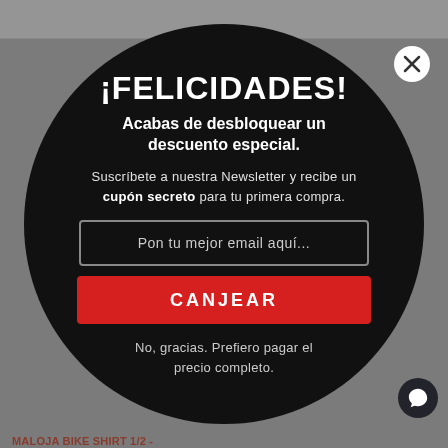¡FELICIDADES!
Acabas de desbloquear un descuento especial.
Suscríbete a nuestra Newsletter y recibe un cupón secreto para tu primera compra.
Pon tu mejor email aquí...
CANJEAR
No, gracias. Prefiero pagar el precio completo.
MALOJA BIKE SHIRT 1/2 -